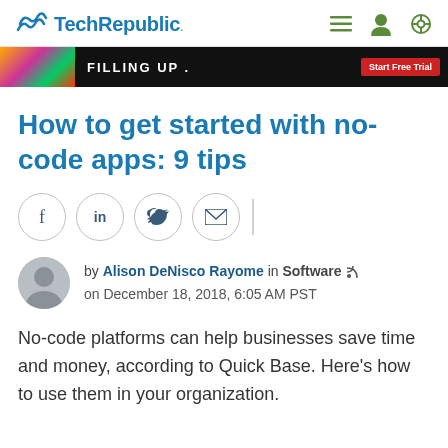TechRepublic
[Figure (screenshot): Advertisement banner with colorful image on left, 'FILLING UP.' text in center, and red 'Start Free Trial' button on right, on dark background]
How to get started with no-code apps: 9 tips
[Figure (infographic): Social sharing buttons: Facebook (f), LinkedIn (in), Twitter bird, Email envelope icons as circles with border, followed by a vertical divider]
by Alison DeNisco Rayome in Software on December 18, 2018, 6:05 AM PST
No-code platforms can help businesses save time and money, according to Quick Base. Here's how to use them in your organization.